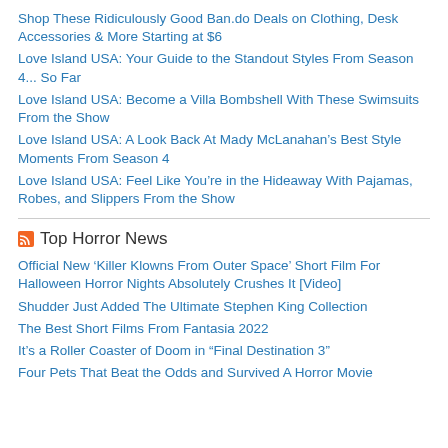Shop These Ridiculously Good Ban.do Deals on Clothing, Desk Accessories & More Starting at $6
Love Island USA: Your Guide to the Standout Styles From Season 4... So Far
Love Island USA: Become a Villa Bombshell With These Swimsuits From the Show
Love Island USA: A Look Back At Mady McLanahan's Best Style Moments From Season 4
Love Island USA: Feel Like You're in the Hideaway With Pajamas, Robes, and Slippers From the Show
Top Horror News
Official New ‘Killer Klowns From Outer Space’ Short Film For Halloween Horror Nights Absolutely Crushes It [Video]
Shudder Just Added The Ultimate Stephen King Collection
The Best Short Films From Fantasia 2022
It’s a Roller Coaster of Doom in “Final Destination 3”
Four Pets That Beat the Odds and Survived A Horror Movie